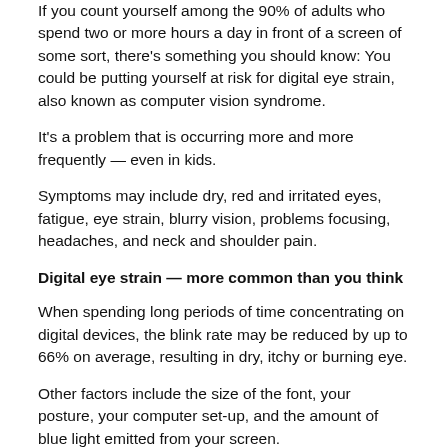If you count yourself among the 90% of adults who spend two or more hours a day in front of a screen of some sort, there's something you should know: You could be putting yourself at risk for digital eye strain, also known as computer vision syndrome.
It's a problem that is occurring more and more frequently — even in kids.
Symptoms may include dry, red and irritated eyes, fatigue, eye strain, blurry vision, problems focusing, headaches, and neck and shoulder pain.
Digital eye strain — more common than you think
When spending long periods of time concentrating on digital devices, the blink rate may be reduced by up to 66% on average, resulting in dry, itchy or burning eye.
Other factors include the size of the font, your posture, your computer set-up, and the amount of blue light emitted from your screen.
Take steps to protect your eyes now
The good thing is that if your screen habits put you at risk for digital eye strain, there are a number of steps you can take to